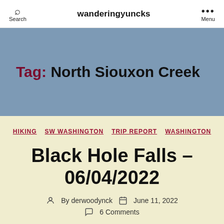wanderingyuncks | Search | Menu
Tag: North Siouxon Creek
HIKING  SW WASHINGTON  TRIP REPORT  WASHINGTON
Black Hole Falls – 06/04/2022
By derwoodynck  June 11, 2022  6 Comments